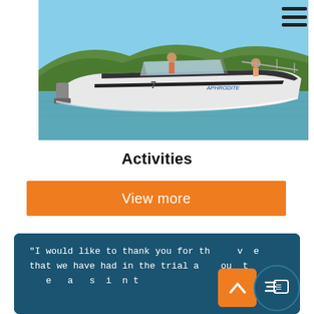[Figure (photo): A white motorboat named 'Aphrodite' on calm water with two people aboard, green hills in the background, clear blue sky.]
Activities
View more
"I would like to thank you for the v... that we have had in the trial a... ou... ...